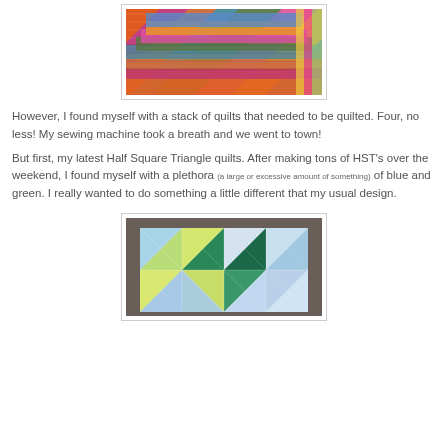[Figure (photo): A stack of colorful quilts folded on top of each other, showing various fabrics in orange, pink, teal, green, magenta, and yellow patterns.]
However, I found myself with a stack of quilts that needed to be quilted.  Four, no less!  My sewing machine took a breath and we went to town!
But first, my latest Half Square Triangle quilts.  After making tons of HST's over the weekend, I found myself with a plethora (a large or excessive amount of something) of blue and green.  I really wanted to do something a little different that my usual design.
[Figure (photo): A Half Square Triangle quilt laid on a brown/gray background, showing a geometric pattern of triangles in blue, green, yellow-green, and light blue colors arranged in pinwheel-like formations.]